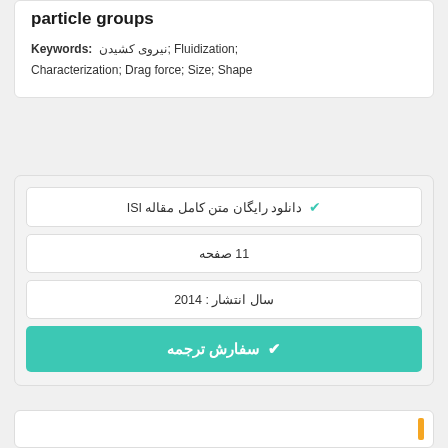particle groups
Keywords: نیروی کشیدن; Fluidization; Characterization; Drag force; Size; Shape
✔ دانلود رایگان متن کامل مقاله ISI
11 صفحه
سال انتشار : 2014
✔ سفارش ترجمه